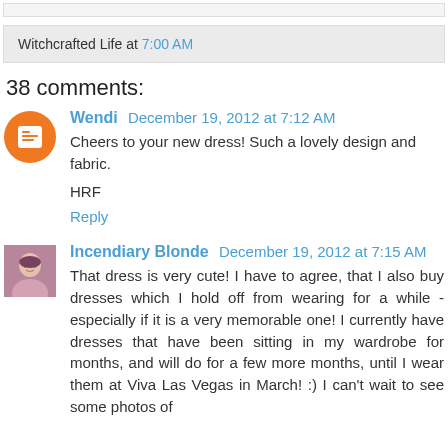Witchcrafted Life at 7:00 AM
38 comments:
Wendi  December 19, 2012 at 7:12 AM
Cheers to your new dress! Such a lovely design and fabric.
HRF
Reply
Incendiary Blonde  December 19, 2012 at 7:15 AM
That dress is very cute! I have to agree, that I also buy dresses which I hold off from wearing for a while - especially if it is a very memorable one! I currently have dresses that have been sitting in my wardrobe for months, and will do for a few more months, until I wear them at Viva Las Vegas in March! :) I can't wait to see some photos of